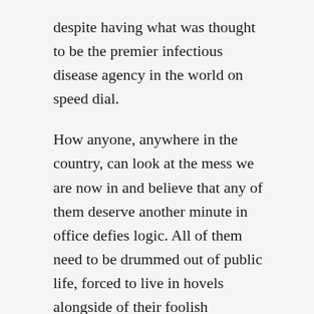despite having what was thought to be the premier infectious disease agency in the world on speed dial.
How anyone, anywhere in the country, can look at the mess we are now in and believe that any of them deserve another minute in office defies logic. All of them need to be drummed out of public life, forced to live in hovels alongside of their foolish followers. Unmasked, without any social distancing.
lorettarn1958
Covid-19, Political Commentary, This is the Republican Party
1 Comment   October 3, 2020   6 Minutes